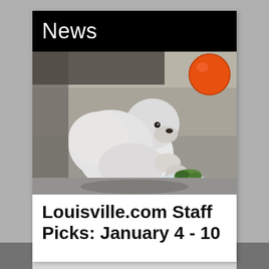News
[Figure (photo): A small white polar bear cub crouching on a concrete surface, sniffing or nibbling at a piece of ice with green herbs/leaves on it. An orange ball is visible in the upper right background.]
Louisville.com Staff Picks: January 4 - 10